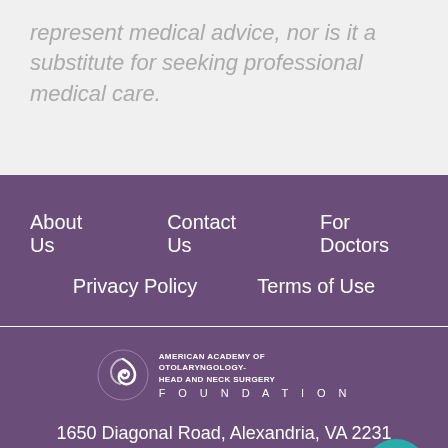represent medical advice, nor is it a substitute for seeking professional medical care.
About Us   Contact Us   For Doctors   Privacy Policy   Terms of Use
[Figure (logo): American Academy of Otolaryngology-Head and Neck Surgery Foundation logo with swirl icon and text]
1650 Diagonal Road, Alexandria, VA 2231
Tel 703-836-4444